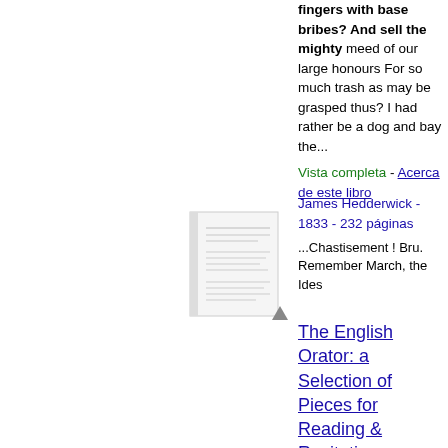fingers with base bribes? And sell the mighty meed of our large honours For so much trash as may be grasped thus? I had rather be a dog and bay the...
Vista completa - Acerca de este libro
[Figure (other): Thumbnail image of a book page]
The English Orator: a Selection of Pieces for Reading & Recitation
James Hedderwick - 1833 - 232 páginas
...Chastisement ! Bru. Remember March, the Ides